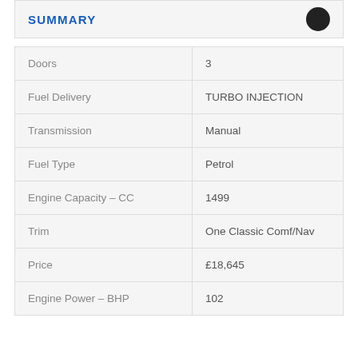SUMMARY
|  |  |
| --- | --- |
| Doors | 3 |
| Fuel Delivery | TURBO INJECTION |
| Transmission | Manual |
| Fuel Type | Petrol |
| Engine Capacity - CC | 1499 |
| Trim | One Classic Comf/Nav |
| Price | £18,645 |
| Engine Power - BHP | 102 |